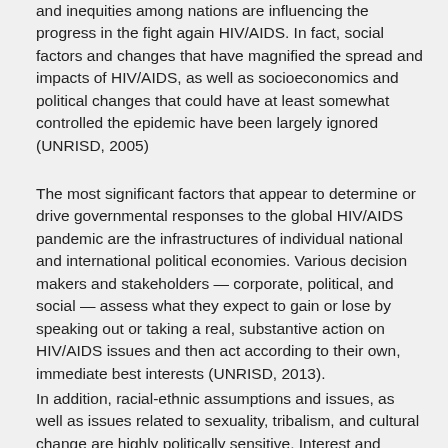and inequities among nations are influencing the progress in the fight again HIV/AIDS. In fact, social factors and changes that have magnified the spread and impacts of HIV/AIDS, as well as socioeconomics and political changes that could have at least somewhat controlled the epidemic have been largely ignored (UNRISD, 2005)
The most significant factors that appear to determine or drive governmental responses to the global HIV/AIDS pandemic are the infrastructures of individual national and international political economies. Various decision makers and stakeholders — corporate, political, and social — assess what they expect to gain or lose by speaking out or taking a real, substantive action on HIV/AIDS issues and then act according to their own, immediate best interests (UNRISD, 2013).
In addition, racial-ethnic assumptions and issues, as well as issues related to sexuality, tribalism, and cultural change are highly politically sensitive. Interest and support